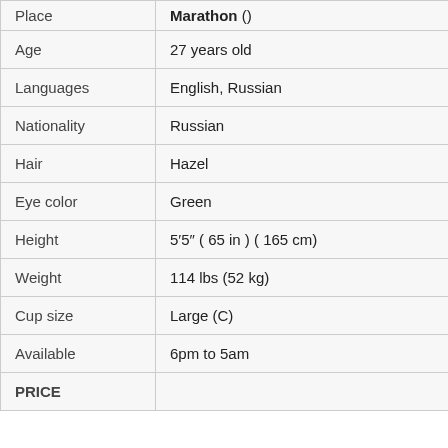| Place | Marathon () |
| --- | --- |
| Age | 27 years old |
| Languages | English, Russian |
| Nationality | Russian |
| Hair | Hazel |
| Eye color | Green |
| Height | 5'5" ( 65 in ) ( 165 cm) |
| Weight | 114 lbs (52 kg) |
| Cup size | Large (C) |
| Available | 6pm to 5am |
| PRICE |  |